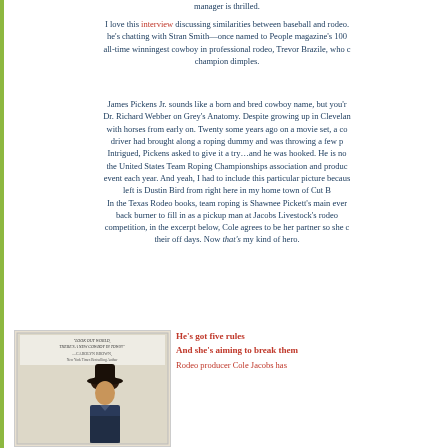manager is thrilled.
I love this interview discussing similarities between baseball and rodeo. he's chatting with Stran Smith—once named to People magazine's 100 all-time winningest cowboy in professional rodeo, Trevor Brazile, who champion dimples.
James Pickens Jr. sounds like a born and bred cowboy name, but you'r Dr. Richard Webber on Grey's Anatomy. Despite growing up in Clevelan with horses from early on. Twenty some years ago on a movie set, a co driver had brought along a roping dummy and was throwing a few p Intrigued, Pickens asked to give it a try...and he was hooked. He is no the United States Team Roping Championships association and produc event each year. And yeah, I had to include this particular picture becaus left is Dustin Bird from right here in my home town of Cut B In the Texas Rodeo books, team roping is Shawnee Pickett's main ever back burner to fill in as a pickup man at Jacobs Livestock's rodeo competition, in the excerpt below, Cole agrees to be her partner so she their off days. Now that's my kind of hero.
[Figure (illustration): Book cover image with cowboy in hat and promotional text]
He's got five rules
And she's aiming to break them
Rodeo producer Cole Jacobs has